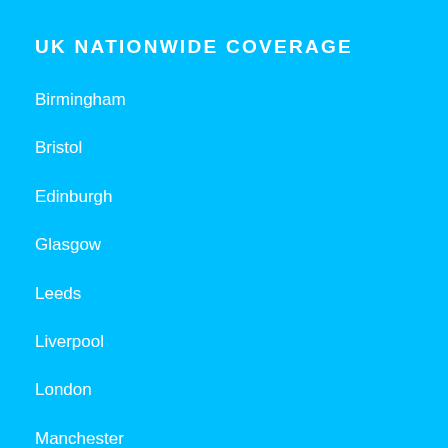UK NATIONWIDE COVERAGE
Birmingham
Bristol
Edinburgh
Glasgow
Leeds
Liverpool
London
Manchester
Newcastle